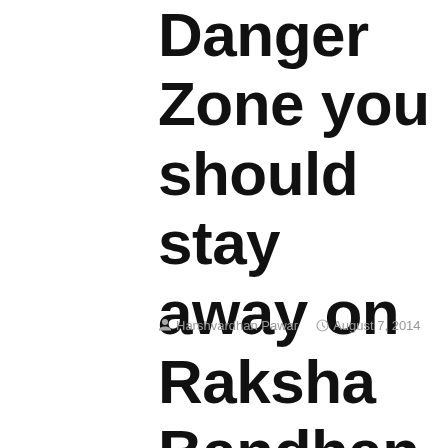Danger Zone you should stay away on Raksha Bandhan every year
Harshvardhan Pawar  August 7, 2014